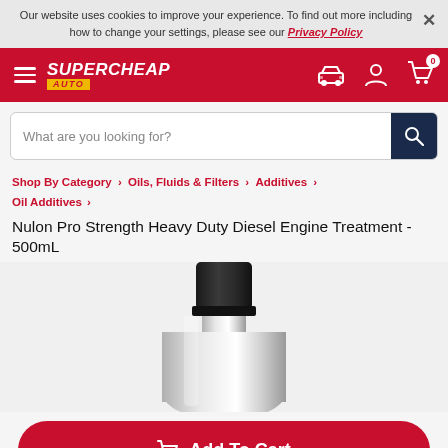Our website uses cookies to improve your experience. To find out more including how to change your settings, please see our Privacy Policy ×
[Figure (logo): Supercheap Auto logo in white italic text on red background with yellow AUTO badge, hamburger menu icon, car icon, user icon, and cart with 0 count]
What are you looking for?
Shop By Category > Oils, Fluids & Filters > Additives > Oil Additives >
Nulon Pro Strength Heavy Duty Diesel Engine Treatment - 500mL
[Figure (photo): Close-up of a silver metallic bottle with a black screw cap, product is Nulon Pro Strength Heavy Duty Diesel Engine Treatment 500mL]
Add To Cart